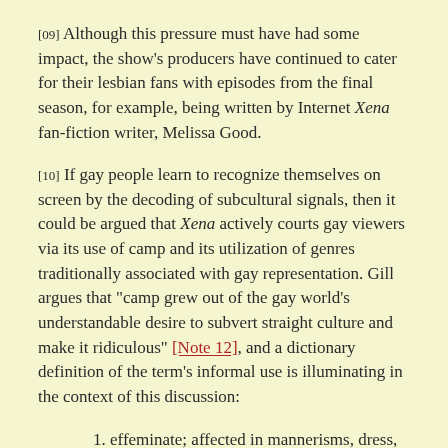[09] Although this pressure must have had some impact, the show's producers have continued to cater for their lesbian fans with episodes from the final season, for example, being written by Internet Xena fan-fiction writer, Melissa Good.
[10] If gay people learn to recognize themselves on screen by the decoding of subcultural signals, then it could be argued that Xena actively courts gay viewers via its use of camp and its utilization of genres traditionally associated with gay representation. Gill argues that "camp grew out of the gay world's understandable desire to subvert straight culture and make it ridiculous" [Note 12], and a dictionary definition of the term's informal use is illuminating in the context of this discussion:
1. effeminate; affected in mannerisms, dress, etc. 2.